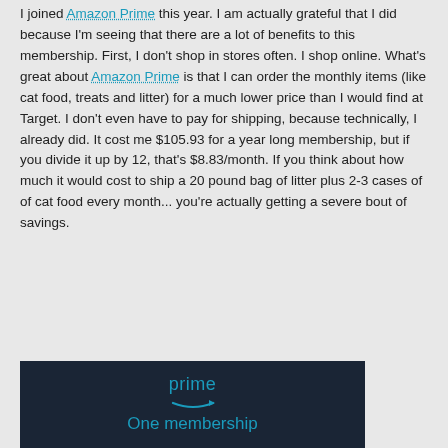I joined Amazon Prime this year. I am actually grateful that I did because I'm seeing that there are a lot of benefits to this membership. First, I don't shop in stores often. I shop online. What's great about Amazon Prime is that I can order the monthly items (like cat food, treats and litter) for a much lower price than I would find at Target. I don't even have to pay for shipping, because technically, I already did. It cost me $105.93 for a year long membership, but if you divide it up by 12, that's $8.83/month. If you think about how much it would cost to ship a 20 pound bag of litter plus 2-3 cases of of cat food every month... you're actually getting a severe bout of savings.
[Figure (logo): Amazon Prime logo on dark navy background with 'prime' text in teal/blue and Amazon smile arrow, with 'One membership' text below in teal]